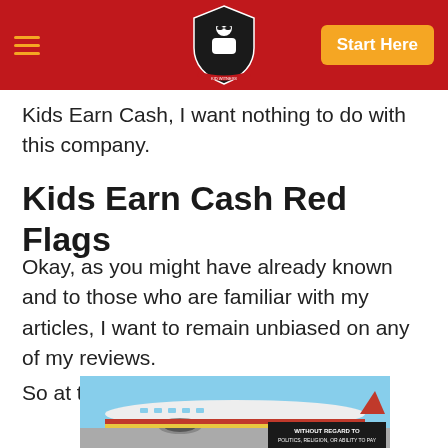Navigation header with hamburger menu, logo, and Start Here button
Kids Earn Cash, I want nothing to do with this company.
Kids Earn Cash Red Flags
Okay, as you might have already known and to those who are familiar with my articles,  I want to remain unbiased on any of my reviews.
So at this point…
[Figure (photo): Cargo airplane on tarmac with colorful livery, overlaid with a dark banner reading WITHOUT REGARD TO POLITICS, RELIGION, OR ABILITY TO PAY]